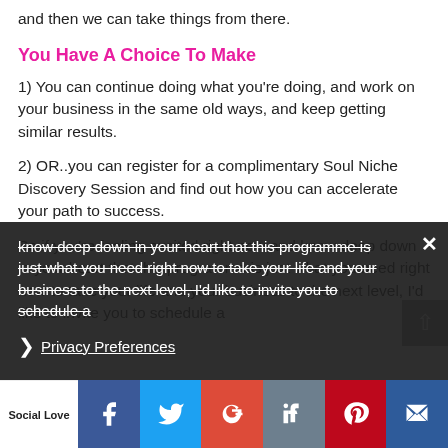and then we can take things from there.
You Have A Choice To Make
1) You can continue doing what you’re doing, and work on your business in the same old ways, and keep getting similar results.
2) OR..you can register for a complimentary Soul Niche Discovery Session and find out how you can accelerate your path to success.
So if you’re feeling excited right now and know deep down in your heart that this programme is just what you need right now to take your life and your business to the next level, I’d like to invite you to schedule a
Privacy Preferences
Social Love